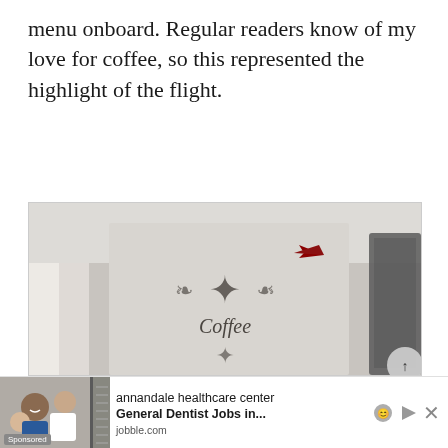menu onboard. Regular readers know of my love for coffee, so this represented the highlight of the flight.
[Figure (photo): A photo of an airline coffee menu booklet/card with ornate decorative motifs in dark grey and the word 'Coffee' printed in the center, with a small red airline logo arrow in the upper right corner. A dark pillow or seat is partially visible at the right edge.]
[Figure (screenshot): An advertisement banner from jobble.com for 'annandale healthcare center General Dentist Jobs in...' with a photo of smiling healthcare workers, a 'Sponsored' label, and close/play controls.]